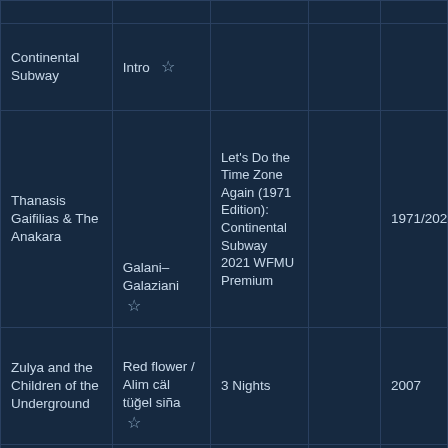| Artist | Song | Album | Label | Year |
| --- | --- | --- | --- | --- |
| Continental Subway | Intro ☆ |  |  |  |
| Thanasis Gaifilias & The Anakara | Galani–Galaziani ☆ | Let's Do the Time Zone Again (1971 Edition): Continental Subway 2021 WFMU Premium |  | 1971/2021 |
| Zulya and the Children of the Underground | Red flower / Alim cäl tüğel siña ☆ | 3 Nights |  | 2007 |
| Nishtiman Project | Aman Aman ☆ | Kobane |  | 2016 |